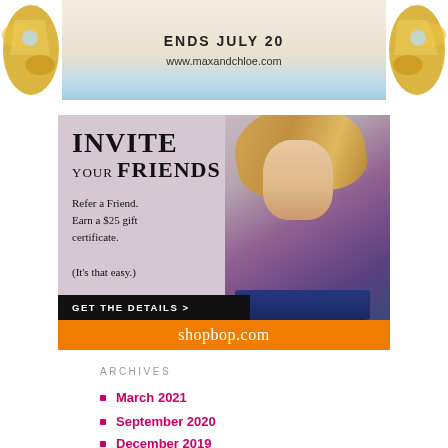[Figure (photo): Top advertisement banner for maxandchloe.com jewelry with gold jewelry pieces on sides, text 'ENDS JULY 20' and 'www.maxandchloe.com']
[Figure (photo): Shopbop.com advertisement featuring a blonde model in purple top and blue skirt. Text reads: 'INVITE YOUR FRIENDS - Refer a Friend. Earn a $25 gift certificate. (It's that easy.) GET THE DETAILS >' with shopbop.com branding on orange footer bar.]
ARCHIVES
March 2021
September 2020
December 2019